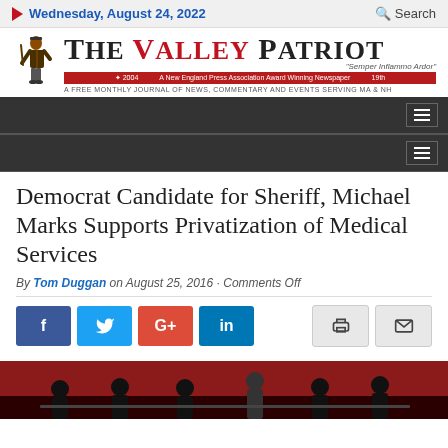Wednesday, August 24, 2022
[Figure (logo): The Valley Patriot newspaper masthead logo with colonial minuteman figure, red ribbon banner reading 'A New England Press Association Award Winning Newspaper', and subtitle 'A FREE MONTHLY JOURNAL OF NEWS, COMMENTARY AND EVENTS SERVING MA & NH']
Democrat Candidate for Sheriff, Michael Marks Supports Privatization of Medical Services
By Tom Duggan on August 25, 2016 · Comments Off
[Figure (infographic): Social media sharing buttons: Facebook (f), Twitter (bird), Google+ (G+), LinkedIn (in), Print (printer icon), Email (envelope icon)]
[Figure (photo): Photo of people seated at a panel or event, with dark red curtain backdrop]